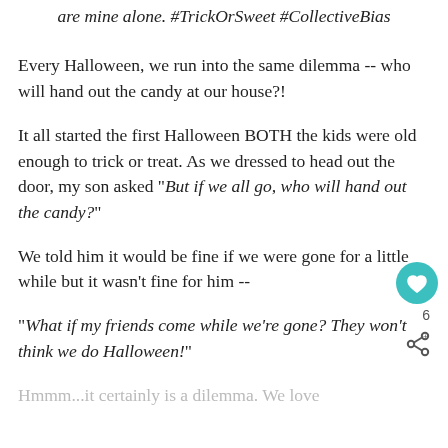are mine alone. #TrickOrSweet #CollectiveBias
Every Halloween, we run into the same dilemma -- who will hand out the candy at our house?!
It all started the first Halloween BOTH the kids were old enough to trick or treat.  As we dressed to head out the door, my son asked "But if we all go, who will hand out the candy?"
We told him it would be fine if we were gone for a little while but it wasn't fine for him --
"What if my friends come while we're gone?  They won't think we do Halloween!"
Hmmm...it certainly is a dilemma.  We love